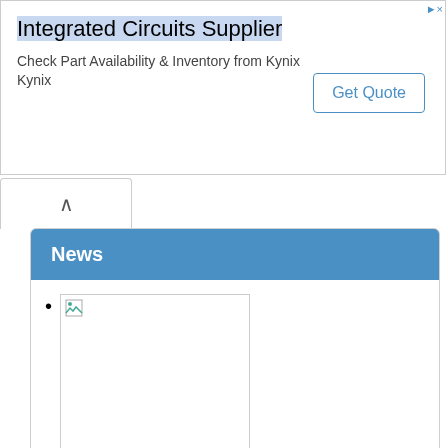[Figure (other): Advertisement banner for Integrated Circuits Supplier - Kynix. Title: 'Integrated Circuits Supplier'. Subtitle: 'Check Part Availability & Inventory from Kynix Kynix'. Button: 'Get Quote'.]
News
The 19th Annual Panasonic Gobel Awards : Winners Announced
Shoemaker Won WSFA Small Press Award
(third item, image loading)